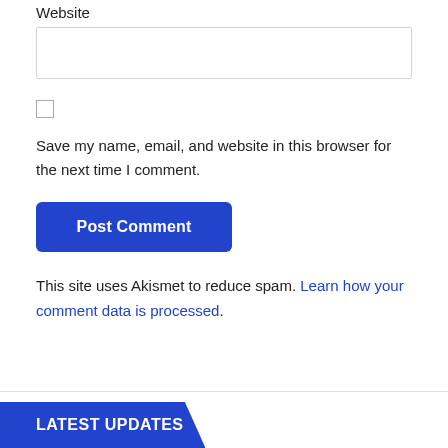Website
Save my name, email, and website in this browser for the next time I comment.
Post Comment
This site uses Akismet to reduce spam. Learn how your comment data is processed.
LATEST UPDATES